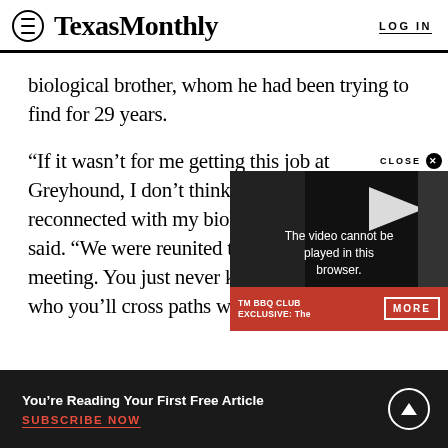TexasMonthly | LOG IN
biological brother, whom he had been trying to find for 29 years.
“If it wasn’t for me getting this job at Greyhound, I don’t think to this day I’d be reconnected with my biological family,” Shaffer said. “We were reunited through a chance meeting. You just never know who you’ll cross paths with
[Figure (screenshot): Video overlay showing 'The video cannot be played in this browser.' with CLOSE button and TM BBQ CLUB EXCLUSIVE bar with MORE button]
READ NEXT
You’re Reading Your First Free Article
SUBSCRIBE NOW